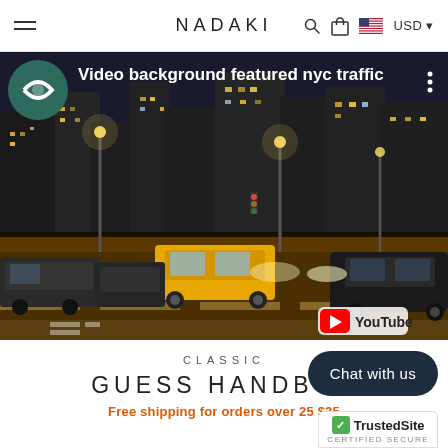NADAKI — navigation bar with hamburger menu, search, cart, US flag, USD
[Figure (screenshot): YouTube video thumbnail showing NYC night traffic scene with city lights and yellow taxi cab. Video title overlay: 'Video background featured nyc traffic'. YouTube logo watermark in bottom right corner. Scrolls YT logo icon in top left.]
CLASSIC
GUESS HANDBA
Free shipping for orders over 25 $25
Chat with us
[Figure (logo): TrustedSite CERTIFIED SECURE badge]